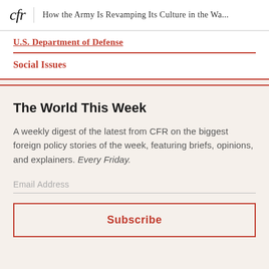cfr | How the Army Is Revamping Its Culture in the Wa...
U.S. Department of Defense
Social Issues
The World This Week
A weekly digest of the latest from CFR on the biggest foreign policy stories of the week, featuring briefs, opinions, and explainers. Every Friday.
Email Address
Subscribe